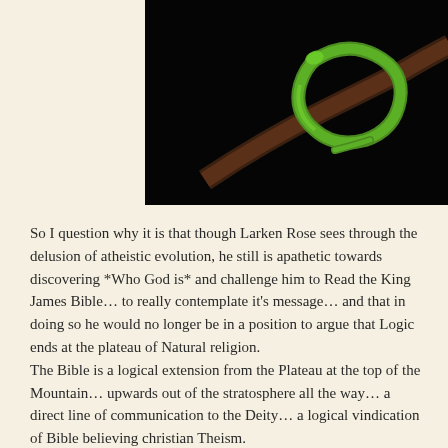[Figure (photo): A green snake coiled on a dark branch against a black background, photographed from above.]
So I question why it is that though Larken Rose sees through the delusion of atheistic evolution, he still is apathetic towards discovering *Who God is* and challenge him to Read the King James Bible... to really contemplate it's message... and that in doing so he would no longer be in a position to argue that Logic ends at the plateau of Natural religion.
The Bible is a logical extension from the Plateau at the top of the Mountain... upwards out of the stratosphere all the way... a direct line of communication to the Deity... a logical vindication of Bible believing christian Theism.